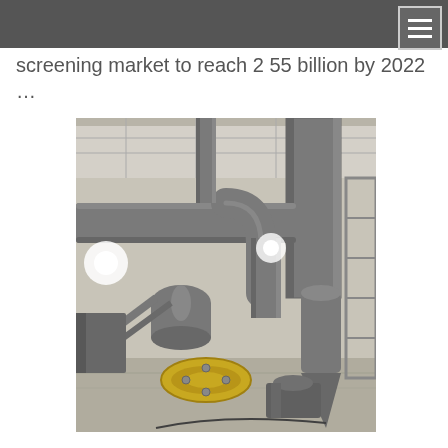screening market to reach 2 55 billion by 2022 …
[Figure (photo): Industrial screening/milling facility interior showing large grey ductwork, cyclone separators, conveyor belts with yellow pulleys, pipes, and heavy machinery equipment inside a warehouse-like structure with metal roof trusses.]